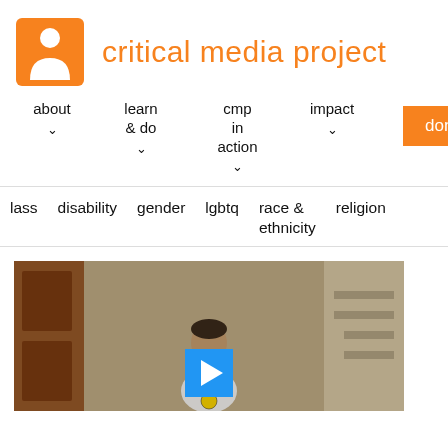[Figure (logo): Critical Media Project logo: orange square with white person silhouette icon, followed by orange text 'critical media project']
[Figure (screenshot): Website navigation bar with menu items: about, learn & do, cmp in action, impact, and an orange donate button]
[Figure (screenshot): Category navigation bar with items: class, disability, gender, lgbtq, race & ethnicity, religion]
[Figure (photo): Video thumbnail showing a person in a white 'OLODUM' t-shirt standing in an outdoor alley setting, with a blue play button overlay at the bottom center]